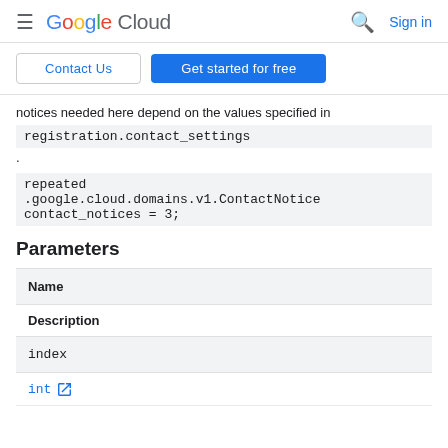≡ Google Cloud  🔍 Sign in
Contact Us   Get started for free
notices needed here depend on the values specified in registration.contact_settings.
repeated .google.cloud.domains.v1.ContactNotice contact_notices = 3;
Parameters
| Name | Description |
| --- | --- |
| index | int |